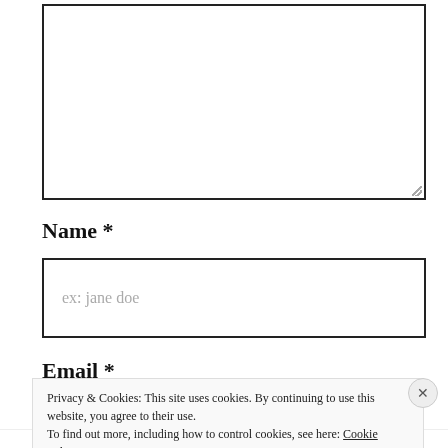[Figure (other): Empty textarea input box with resize handle at bottom-right corner]
Name *
[Figure (other): Text input field with placeholder text 'ex: jane doe']
Email *
Privacy & Cookies: This site uses cookies. By continuing to use this website, you agree to their use.
To find out more, including how to control cookies, see here: Cookie Policy
Close and accept